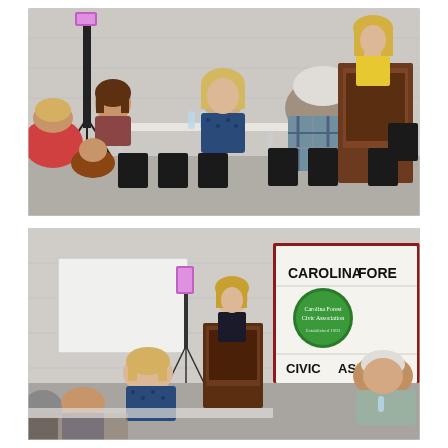[Figure (photo): Indoor meeting scene: a woman with blonde hair stands at a wooden podium speaking into a microphone, wearing a yellow vest. Several attendees are seated at tables and in chairs facing her. A camera on a tripod is visible on the left. The room has white/grey cinder block walls.]
[Figure (photo): Same meeting room from a wider angle showing the speaker at the podium, seated attendees including a woman in a blue patterned top and a man in a grey blazer. A banner in the background reads 'CAROLINA FORE...' and 'CIVIC ASSOCIATI...' with a Carolina Forest Civic Association logo. A phone on a tripod is visible on the left.]